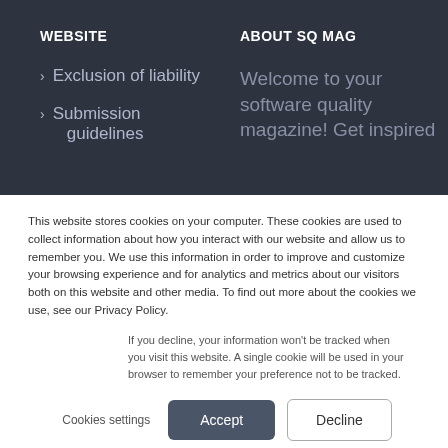WEBSITE
ABOUT SQ MAG
> Exclusion of liability
Welcome to your software quality magazine! Get inspired
> Submission guidelines
This website stores cookies on your computer. These cookies are used to collect information about how you interact with our website and allow us to remember you. We use this information in order to improve and customize your browsing experience and for analytics and metrics about our visitors both on this website and other media. To find out more about the cookies we use, see our Privacy Policy.
If you decline, your information won't be tracked when you visit this website. A single cookie will be used in your browser to remember your preference not to be tracked.
Cookies settings   Accept   Decline